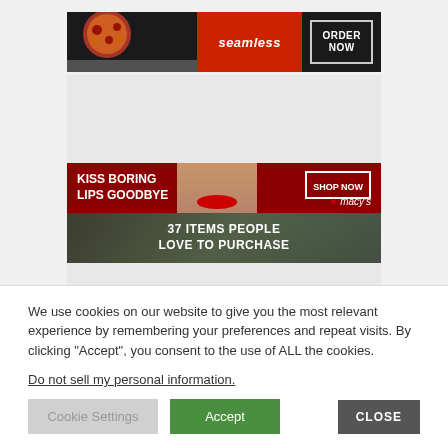[Figure (screenshot): Seamless food delivery banner ad with pizza image on left, 'seamless' red brand name in center, 'ORDER NOW' button with white border on right, dark background]
[Figure (screenshot): Macy's advertisement banner: top half has dark red background with bold white text 'KISS BORING LIPS GOODBYE', woman's face with red lips in center, 'SHOP NOW' button and Macy's star logo on right; bottom half shows food items with text '37 ITEMS PEOPLE LOVE TO PURCHASE']
We use cookies on our website to give you the most relevant experience by remembering your preferences and repeat visits. By clicking “Accept”, you consent to the use of ALL the cookies.
Do not sell my personal information.
Cookie Settings    Accept    CLOSE